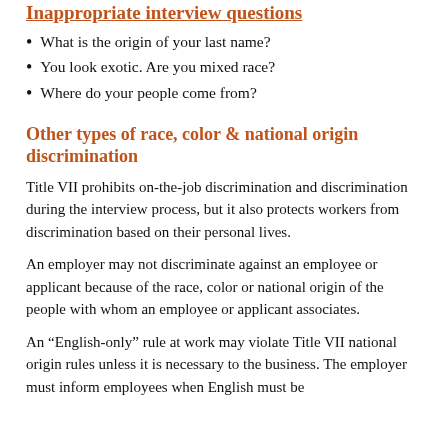Inappropriate interview questions
What is the origin of your last name?
You look exotic. Are you mixed race?
Where do your people come from?
Other types of race, color & national origin discrimination
Title VII prohibits on-the-job discrimination and discrimination during the interview process, but it also protects workers from discrimination based on their personal lives.
An employer may not discriminate against an employee or applicant because of the race, color or national origin of the people with whom an employee or applicant associates.
An “English-only” rule at work may violate Title VII national origin rules unless it is necessary to the business. The employer must inform employees when English must be